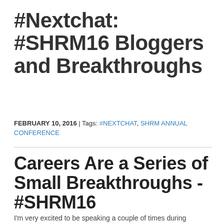#Nextchat: #SHRM16 Bloggers and Breakthroughs
FEBRUARY 10, 2016 | Tags: #NEXTCHAT, SHRM ANNUAL CONFERENCE
Careers Are a Series of Small Breakthroughs - #SHRM16
I'm very excited to be speaking a couple of times during